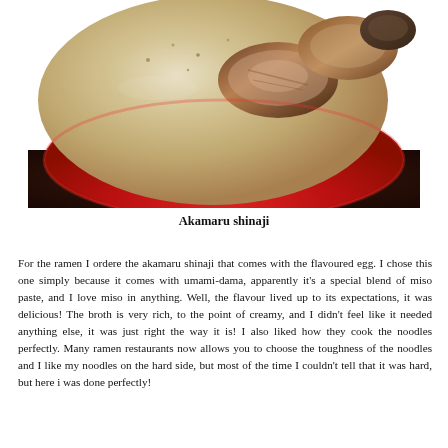[Figure (photo): Close-up photo of a bowl of ramen (akamaru shinaji) with creamy broth and sliced chashu pork, served in a red bowl on a dark wooden table.]
Akamaru shinaji
For the ramen I ordere the akamaru shinaji that comes with the flavoured egg. I chose this one simply because it comes with umami-dama, apparently it's a special blend of miso paste, and I love miso in anything. Well, the flavour lived up to its expectations, it was delicious! The broth is very rich, to the point of creamy, and I didn't feel like it needed anything else, it was just right the way it is! I also liked how they cook the noodles perfectly. Many ramen restaurants now allows you to choose the toughness of the noodles and I like my noodles on the hard side, but most of the time I couldn't tell that it was hard, but here i was done perfectly!